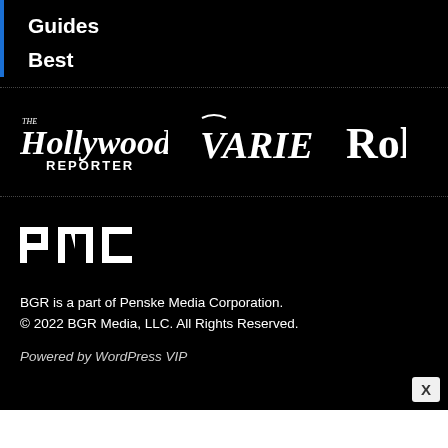Guides
Best
[Figure (logo): The Hollywood Reporter logo in white italic serif font on black background]
[Figure (logo): Variety logo in white bold italic serif font on black background]
[Figure (logo): Rolling Stone logo (partially cropped, 'Rol') in white bold serif font on black background]
[Figure (logo): PMC (Penske Media Corporation) logo in white block letters on black background]
BGR is a part of Penske Media Corporation.
© 2022 BGR Media, LLC. All Rights Reserved.
Powered by WordPress VIP